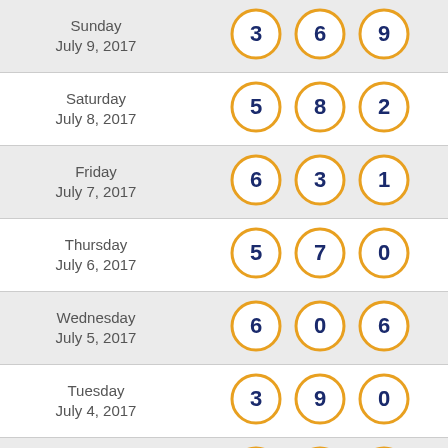| Date | Numbers |
| --- | --- |
| Sunday July 9, 2017 | 3 6 9 |
| Saturday July 8, 2017 | 5 8 2 |
| Friday July 7, 2017 | 6 3 1 |
| Thursday July 6, 2017 | 5 7 0 |
| Wednesday July 5, 2017 | 6 0 6 |
| Tuesday July 4, 2017 | 3 9 0 |
| Monday July 3, 2017 | 7 8 0 |
| Sunday July 2, 2017 | 4 8 3 |